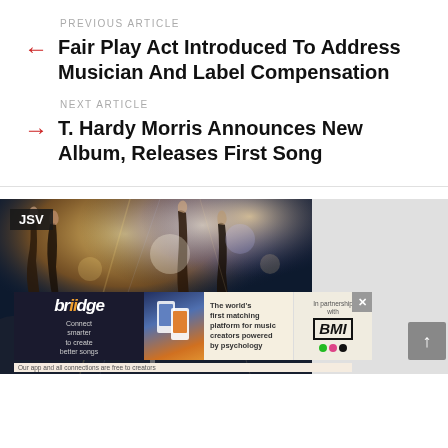PREVIOUS ARTICLE
Fair Play Act Introduced To Address Musician And Label Compensation
NEXT ARTICLE
T. Hardy Morris Announces New Album, Releases First Song
[Figure (photo): Concert crowd with raised hands under stage lighting, JSV badge in top-left corner]
[Figure (infographic): Briidge app advertisement banner: Connect smarter to create better songs. The world's first matching platform for music creators powered by psychology. In partnership with BMI.]